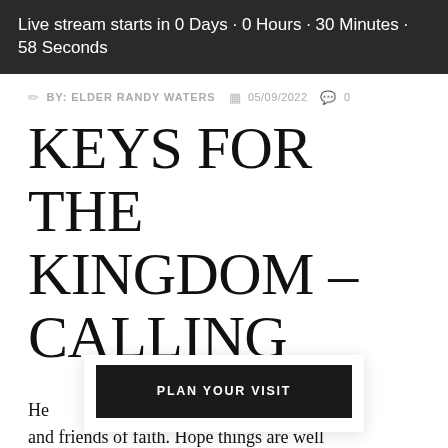Live stream starts in 0 Days · 0 Hours · 30 Minutes · 58 Seconds
BY: ELDER RANDY WATERS  05/09/2022  0
KEYS FOR THE KINGDOM – CALLING
He  comrades and friends of faith. Hope things are well with you and that you are enjoying God
PLAN YOUR VISIT